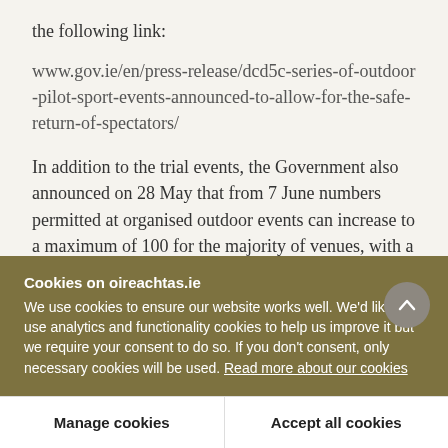the following link:
www.gov.ie/en/press-release/dcd5c-series-of-outdoor-pilot-sport-events-announced-to-allow-for-the-safe-return-of-spectators/
In addition to the trial events, the Government also announced on 28 May that from 7 June numbers permitted at organised outdoor events can increase to a maximum of 100 for the majority of venues, with a maximum of 200 for outdoor stadia/venues where
Cookies on oireachtas.ie
We use cookies to ensure our website works well. We'd like to use analytics and functionality cookies to help us improve it but we require your consent to do so. If you don't consent, only necessary cookies will be used. Read more about our cookies
Manage cookies
Accept all cookies